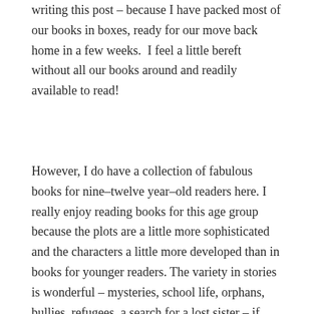writing this post – because I have packed most of our books in boxes, ready for our move back home in a few weeks.  I feel a little bereft without all our books around and readily available to read!
However, I do have a collection of fabulous books for nine–twelve year–old readers here. I really enjoy reading books for this age group because the plots are a little more sophisticated and the characters a little more developed than in books for younger readers. The variety in stories is wonderful – mysteries, school life, orphans, bullies, refugees, a search for a lost sister – if your child can add all these books to